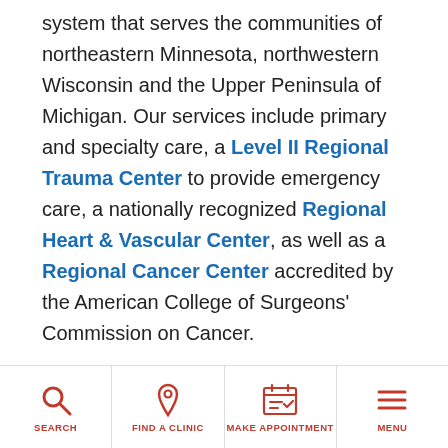system that serves the communities of northeastern Minnesota, northwestern Wisconsin and the Upper Peninsula of Michigan. Our services include primary and specialty care, a Level II Regional Trauma Center to provide emergency care, a nationally recognized Regional Heart & Vascular Center, as well as a Regional Cancer Center accredited by the American College of Surgeons' Commission on Cancer.

As the close-to-home healthcare provider for many, St. Luke's uses a unique combination of expertise, technology and compassion to provide cost-effective, accessible medical care. We were founded to offer
[Figure (other): Bottom navigation bar with four items: Search (magnifying glass icon), Find a Clinic (location pin icon), Make Appointment (calendar icon), Menu (hamburger icon). All icons and labels are red/coral colored.]